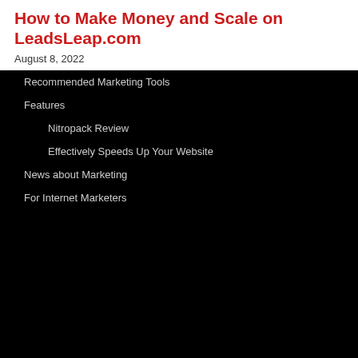How to Make Money and Scale on LeadsLeap.com
August 8, 2022
Recommended Marketing Tools
Features
Nitropack Review
Effectively Speeds Up Your Website
News about Marketing
For Internet Marketers